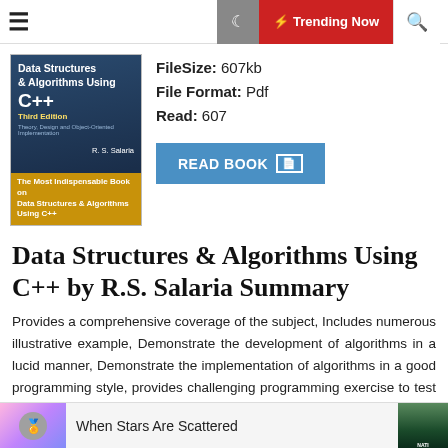≡  [moon] ⚡ Trending Now [search]
[Figure (illustration): Book cover of 'Data Structures & Algorithms Using C++' Third Edition by R.S. Salaria, with blue and golden/brown design]
FileSize: 607kb
File Format: Pdf
Read: 607
[Figure (other): READ BOOK button in blue]
Data Structures & Algorithms Using C++ by R.S. Salaria Summary
Provides a comprehensive coverage of the subject, Includes numerous illustrative example, Demonstrate the development of algorithms in a lucid manner, Demonstrate the implementation of algorithms in a good programming style, provides challenging programming exercise to test you knowledge gained about the subject, Glossary of terms for ready reference
[Figure (other): Advertisement banner: 'When Stars Are Scattered' with book thumbnail and landscape photo on right]